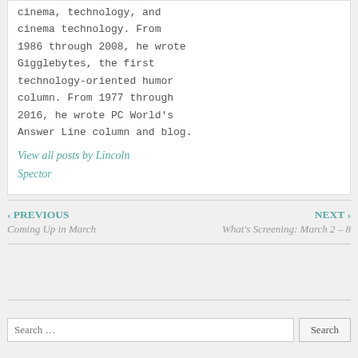cinema, technology, and cinema technology. From 1986 through 2008, he wrote Gigglebytes, the first technology-oriented humor column. From 1977 through 2016, he wrote PC World's Answer Line column and blog. View all posts by Lincoln Spector
‹ PREVIOUS Coming Up in March
NEXT › What's Screening: March 2 – 8
Search …